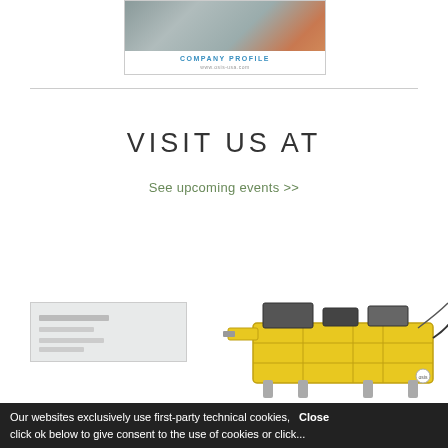[Figure (other): Company profile card with photo of industrial equipment/pipes and orange component, showing 'COMPANY PROFILE' label and website URL www.osis-usa.com]
VISIT US AT
See upcoming events >>
[Figure (photo): Yellow ROV (remotely operated vehicle) underwater robot on a sled/frame structure]
[Figure (photo): Small thumbnail card/image partially visible at bottom left]
Our websites exclusively use first-party technical cookies,   Close click ok below to give consent to the use of cookies or click...